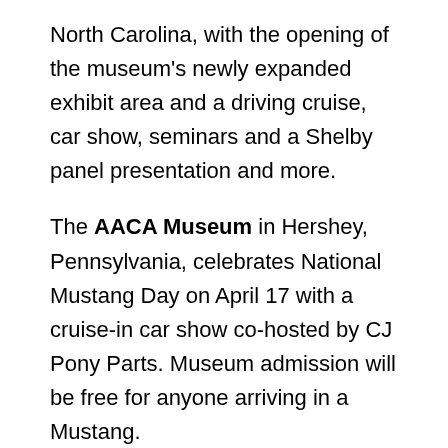North Carolina, with the opening of the museum's newly expanded exhibit area and a driving cruise, car show, seminars and a Shelby panel presentation and more.
The AACA Museum in Hershey, Pennsylvania, celebrates National Mustang Day on April 17 with a cruise-in car show co-hosted by CJ Pony Parts. Museum admission will be free for anyone arriving in a Mustang.
The North East Motor Sports Museum in Loudon, New Hampshire, opens its outdoor event season April 16 with the inaugural New England Racers Reunion. The event, taking place at New